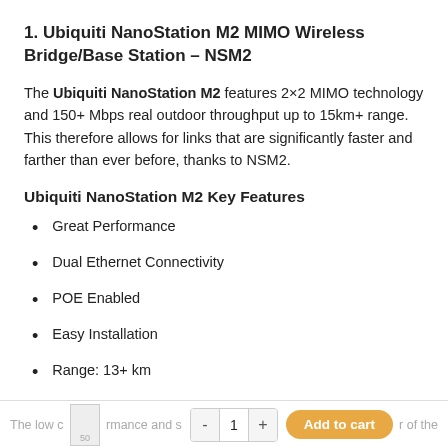1. Ubiquiti NanoStation M2 MIMO Wireless Bridge/Base Station – NSM2
The Ubiquiti NanoStation M2 features 2×2 MIMO technology and 150+ Mbps real outdoor throughput up to 15km+ range. This therefore allows for links that are significantly faster and farther than ever before, thanks to NSM2.
Ubiquiti NanoStation M2 Key Features
Great Performance
Dual Ethernet Connectivity
POE Enabled
Easy Installation
Range: 13+ km
The low cost, h  rmance and s  r of the   - 1 +  Add to cart